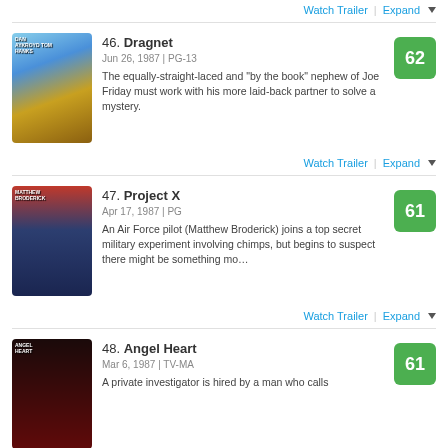Watch Trailer | Expand
46. Dragnet
Jun 26, 1987 | PG-13
The equally-straight-laced and "by the book" nephew of Joe Friday must work with his more laid-back partner to solve a mystery.
Score: 62
Watch Trailer | Expand
47. Project X
Apr 17, 1987 | PG
An Air Force pilot (Matthew Broderick) joins a top secret military experiment involving chimps, but begins to suspect there might be something mo…
Score: 61
Watch Trailer | Expand
48. Angel Heart
Mar 6, 1987 | TV-MA
A private investigator is hired by a man who calls
Score: 61